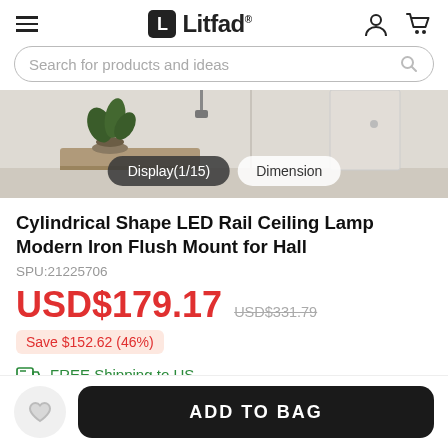Litfad
Search for products and ideas
[Figure (photo): Product display photo of a ceiling lamp in a modern room interior, with Display(1/15) and Dimension tab buttons overlaid]
Cylindrical Shape LED Rail Ceiling Lamp Modern Iron Flush Mount for Hall
SPU:21225706
USD$179.17  USD$331.79
Save $152.62 (46%)
FREE Shipping to US
ADD TO BAG